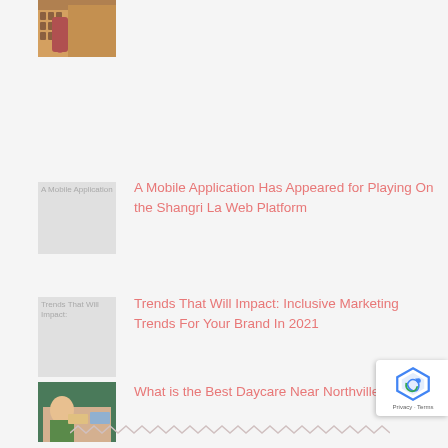[Figure (photo): Woman in warehouse handling boxes/shelves]
[Figure (photo): Placeholder image for Mobile Application article]
A Mobile Application Has Appeared for Playing On the Shangri La Web Platform
[Figure (photo): Placeholder image for Trends article]
Trends That Will Impact: Inclusive Marketing Trends For Your Brand In 2021
[Figure (photo): Child at table with crafts/activity]
What is the Best Daycare Near Northville MI?